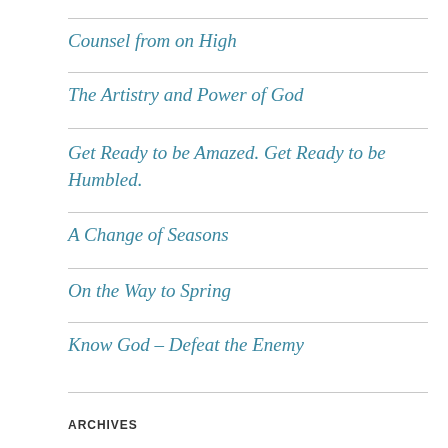Counsel from on High
The Artistry and Power of God
Get Ready to be Amazed. Get Ready to be Humbled.
A Change of Seasons
On the Way to Spring
Know God – Defeat the Enemy
ARCHIVES